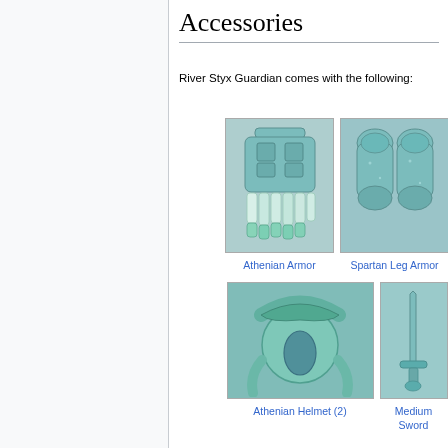Accessories
River Styx Guardian comes with the following:
[Figure (photo): Photo of Athenian Armor accessory - teal/turquoise colored plastic armor piece with skirt detail]
Athenian Armor
[Figure (photo): Photo of Spartan Leg Armor accessory - teal/turquoise colored plastic leg armor pieces]
Spartan Leg Armor
[Figure (photo): Photo of Athenian Helmet (2) accessory - large teal/turquoise colored plastic helmet with crest]
Athenian Helmet (2)
[Figure (photo): Photo of Medium Sword accessory - teal/turquoise colored plastic sword]
Medium Sword